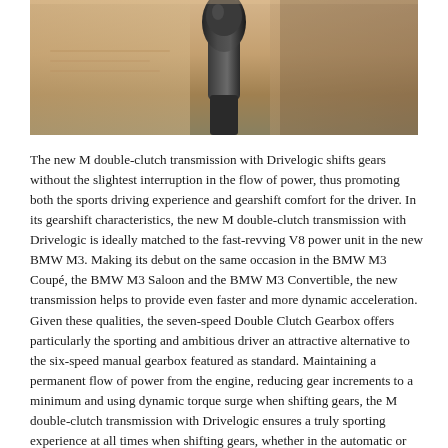[Figure (photo): Close-up photo of a BMW gear lever/shifter with tan/beige leather interior background]
The new M double-clutch transmission with Drivelogic shifts gears without the slightest interruption in the flow of power, thus promoting both the sports driving experience and gearshift comfort for the driver. In its gearshift characteristics, the new M double-clutch transmission with Drivelogic is ideally matched to the fast-revving V8 power unit in the new BMW M3. Making its debut on the same occasion in the BMW M3 Coupé, the BMW M3 Saloon and the BMW M3 Convertible, the new transmission helps to provide even faster and more dynamic acceleration. Given these qualities, the seven-speed Double Clutch Gearbox offers particularly the sporting and ambitious driver an attractive alternative to the six-speed manual gearbox featured as standard. Maintaining a permanent flow of power from the engine, reducing gear increments to a minimum and using dynamic torque surge when shifting gears, the M double-clutch transmission with Drivelogic ensures a truly sporting experience at all times when shifting gears, whether in the automatic or manual mode.
A further essential point is that Drivelogic exclusive to BMW M vehicles first appears on the European life for